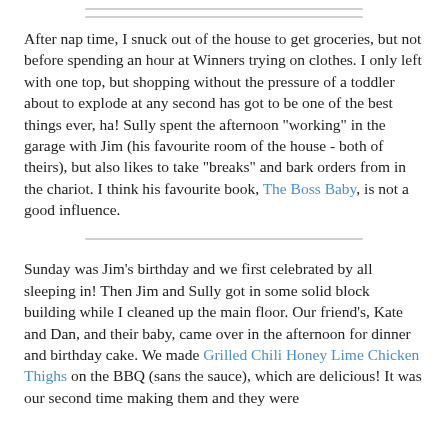[Figure (other): Decorative horizontal divider lines (two thin gray lines)]
After nap time, I snuck out of the house to get groceries, but not before spending an hour at Winners trying on clothes. I only left with one top, but shopping without the pressure of a toddler about to explode at any second has got to be one of the best things ever, ha! Sully spent the afternoon "working" in the garage with Jim (his favourite room of the house - both of theirs), but also likes to take "breaks" and bark orders from in the chariot. I think his favourite book, The Boss Baby, is not a good influence.
[Figure (other): Decorative horizontal divider line (one thin gray line)]
Sunday was Jim's birthday and we first celebrated by all sleeping in! Then Jim and Sully got in some solid block building while I cleaned up the main floor. Our friend's, Kate and Dan, and their baby, came over in the afternoon for dinner and birthday cake. We made Grilled Chili Honey Lime Chicken Thighs on the BBQ (sans the sauce), which are delicious! It was our second time making them and they were